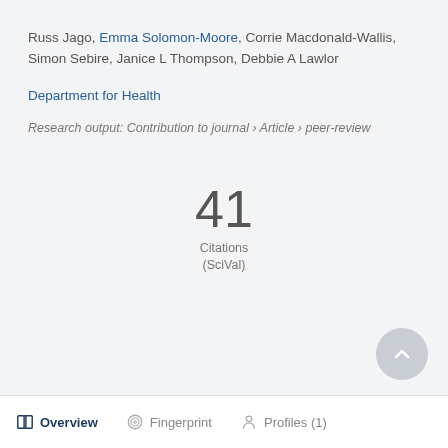Russ Jago, Emma Solomon-Moore, Corrie Macdonald-Wallis, Simon Sebire, Janice L Thompson, Debbie A Lawlor
Department for Health
Research output: Contribution to journal › Article › peer-review
41
Citations
(SciVal)
Overview   Fingerprint   Profiles (1)